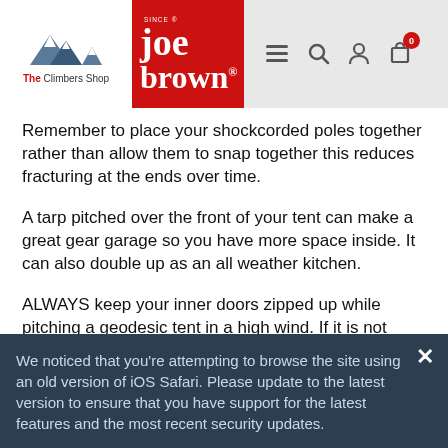The Climbers Shop / Joe Brown
Remember to place your shockcorded poles together rather than allow them to snap together this reduces fracturing at the ends over time.
A tarp pitched over the front of your tent can make a great gear garage so you have more space inside. It can also double up as an all weather kitchen.
ALWAYS keep your inner doors zipped up while pitching a geodesic tent in a high wind. If it is not pegged down it could go up, up, up and far away.....
We noticed that you're attempting to browse the site using an old version of iOS Safari. Please update to the latest version to ensure that you have support for the latest features and the most recent security updates.